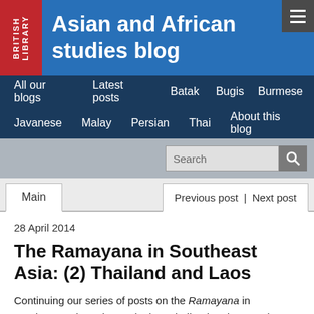Asian and African studies blog
All our blogs | Latest posts | Batak | Bugis | Burmese | Javanese | Malay | Persian | Thai | About this blog
28 April 2014
The Ramayana in Southeast Asia: (2) Thailand and Laos
Continuing our series of posts on the Ramayana in Southeast Asia, today we look at Thailand and Laos. The Thai version of the epic is known as the Ramakien. The Rama story is thought to have been known to the Thais since at least the 13th century. It was adopted from